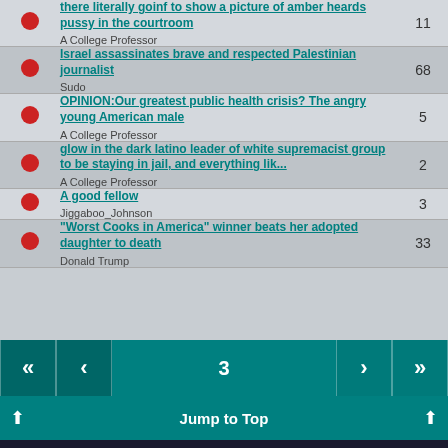|  | Title / Author | Replies |
| --- | --- | --- |
| • | there literally goinf to show a picture of amber heards pussy in the courtroom
A College Professor | 11 |
| • | Israel assassinates brave and respected Palestinian journalist
Sudo | 68 |
| • | OPINION:Our greatest public health crisis? The angry young American male
A College Professor | 5 |
| • | glow in the dark latino leader of white supremacist group to be staying in jail, and everything lik...
A College Professor | 2 |
| • | A good fellow
Jiggaboo_Johnson | 3 |
| • | "Worst Cooks in America" winner beats her adopted daughter to death
Donald Trump | 33 |
3
Jump to Top
Oldschool forum software, made with ♥ , in space. Fork me hard baby.